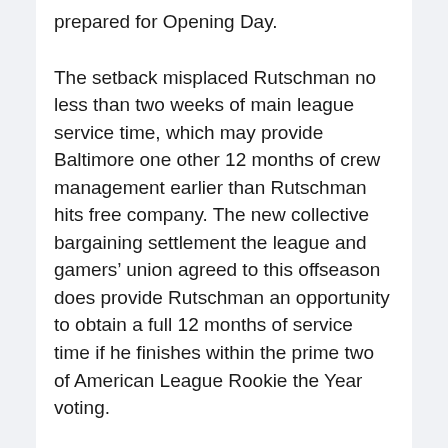prepared for Opening Day.
The setback misplaced Rutschman no less than two weeks of main league service time, which may provide Baltimore one other 12 months of crew management earlier than Rutschman hits free company. The new collective bargaining settlement the league and gamers' union agreed to this offseason does provide Rutschman an opportunity to obtain a full 12 months of service time if he finishes within the prime two of American League Rookie the Year voting.
There’s lots to remove from that four-paragraph assertion from John Means, when he introduced the necessity for